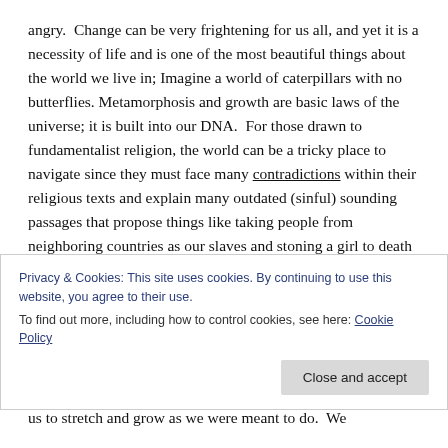angry. Change can be very frightening for us all, and yet it is a necessity of life and is one of the most beautiful things about the world we live in; Imagine a world of caterpillars with no butterflies. Metamorphosis and growth are basic laws of the universe; it is built into our DNA. For those drawn to fundamentalist religion, the world can be a tricky place to navigate since they must face many contradictions within their religious texts and explain many outdated (sinful) sounding passages that propose things like taking people from neighboring countries as our slaves and stoning a girl to death if she lives with her father and is not a
Privacy & Cookies: This site uses cookies. By continuing to use this website, you agree to their use.
To find out more, including how to control cookies, see here: Cookie Policy
us to stretch and grow as we were meant to do. We